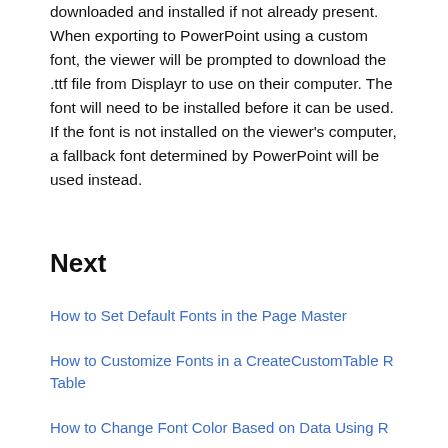downloaded and installed if not already present. When exporting to PowerPoint using a custom font, the viewer will be prompted to download the .ttf file from Displayr to use on their computer. The font will need to be installed before it can be used. If the font is not installed on the viewer's computer, a fallback font determined by PowerPoint will be used instead.
Next
How to Set Default Fonts in the Page Master
How to Customize Fonts in a CreateCustomTable R Table
How to Change Font Color Based on Data Using R